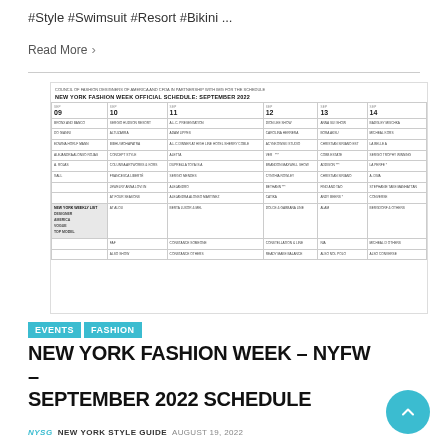#Style #Swimsuit #Resort #Bikini ...
Read More >
[Figure (table-as-image): New York Fashion Week Official Schedule September 2022 calendar grid showing events for Sep 09–14]
EVENTS  FASHION
NEW YORK FASHION WEEK – NYFW – SEPTEMBER 2022 SCHEDULE
NYSG  NEW YORK STYLE GUIDE  AUGUST 19, 2022